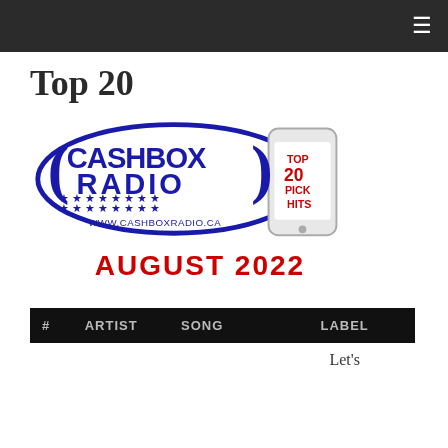≡
Top 20
[Figure (logo): Cashbox Radio Top 20 Pick Hits logo with phone graphic. Text: CASHBOX RADIO, www.cashboxradio.ca, TOP 20 PICK HITS]
AUGUST 2022
| # | ARTIST | SONG | LABEL |
| --- | --- | --- | --- |
|  |  |  | Let's |